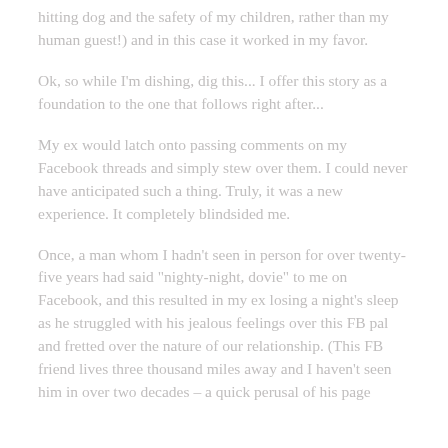hitting dog and the safety of my children, rather than my human guest!) and in this case it worked in my favor.
Ok, so while I'm dishing, dig this... I offer this story as a foundation to the one that follows right after...
My ex would latch onto passing comments on my Facebook threads and simply stew over them. I could never have anticipated such a thing. Truly, it was a new experience. It completely blindsided me.
Once, a man whom I hadn't seen in person for over twenty-five years had said "nighty-night, dovie" to me on Facebook, and this resulted in my ex losing a night's sleep as he struggled with his jealous feelings over this FB pal and fretted over the nature of our relationship. (This FB friend lives three thousand miles away and I haven't seen him in over two decades – a quick perusal of his page would have proven it to be a completely online...)